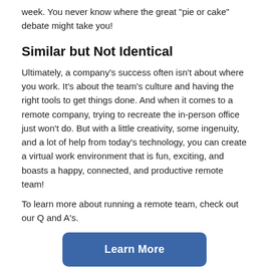week. You never know where the great “pie or cake” debate might take you!
Similar but Not Identical
Ultimately, a company's success often isn't about where you work. It's about the team's culture and having the right tools to get things done. And when it comes to a remote company, trying to recreate the in-person office just won't do. But with a little creativity, some ingenuity, and a lot of help from today's technology, you can create a virtual work environment that is fun, exciting, and boasts a happy, connected, and productive remote team!
To learn more about running a remote team, check out our Q and A's.
[Figure (other): Blue rounded button labeled 'Learn More']
By Rachel | Posted May 10, 2022 | Categories: Remote Home...